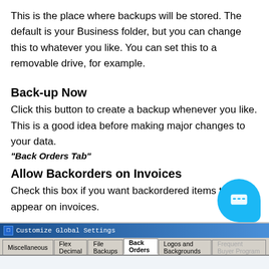This is the place where backups will be stored. The default is your Business folder, but you can change this to whatever you like. You can set this to a removable drive, for example.
Back-up Now
Click this button to create a backup whenever you like. This is a good idea before making major changes to your data.
"Back Orders Tab"
Allow Backorders on Invoices
Check this box if you want backordered items to appear on invoices.
[Figure (screenshot): Screenshot of 'Customize Global Settings' dialog with tabs: Miscellaneous, Flex Decimal, File Backups, Back Orders (active/selected), Logos and Backgrounds, Frequent Buyer Program]